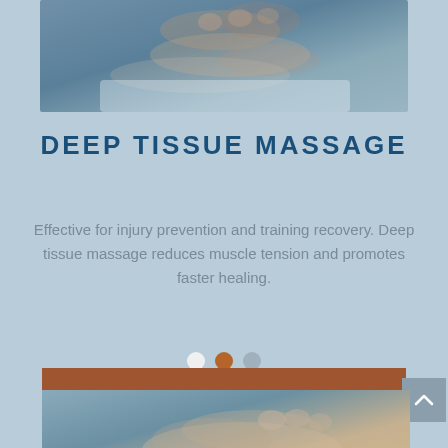[Figure (photo): Hands performing massage therapy on a person lying on a treatment table, top image]
DEEP TISSUE MASSAGE
Effective for injury prevention and training recovery. Deep tissue massage reduces muscle tension and promotes faster healing.
[Figure (infographic): Navigation dots: one white circle, one orange/brown circle, one gray circle indicating carousel position]
FIND OUT MORE
[Figure (photo): Hands performing massage therapy on a foot or leg, bottom image]